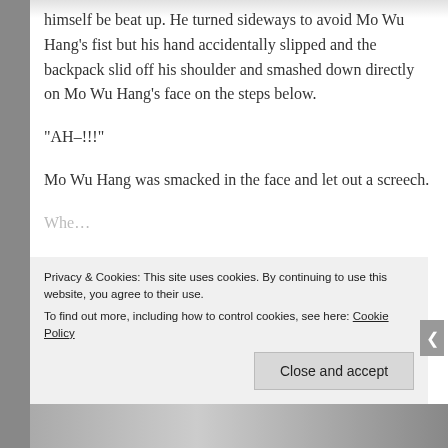himself be beat up. He turned sideways to avoid Mo Wu Hang’s fist but his hand accidentally slipped and the backpack slid off his shoulder and smashed down directly on Mo Wu Hang’s face on the steps below.
“AH–!!!”
Mo Wu Hang was smacked in the face and let out a screech.
Wh...
Privacy & Cookies: This site uses cookies. By continuing to use this website, you agree to their use.
To find out more, including how to control cookies, see here: Cookie Policy
Close and accept